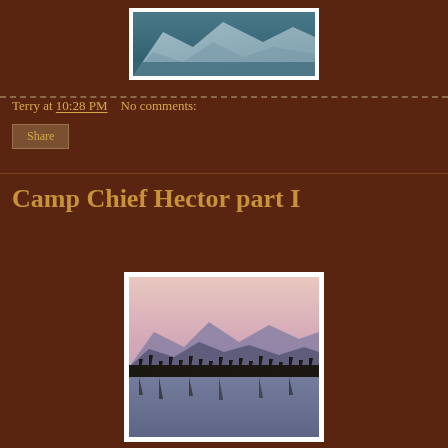[Figure (photo): Partial view of a photo showing what appears to be a mountain or glacial scene, cropped at the top of the page]
Terry at 10:28 PM   No comments:
Share
Camp Chief Hector part I
[Figure (photo): Photo of a mountain lake at sunset/dusk, with silhouetted trees and mountains reflected in calm water, pink and purple sky]